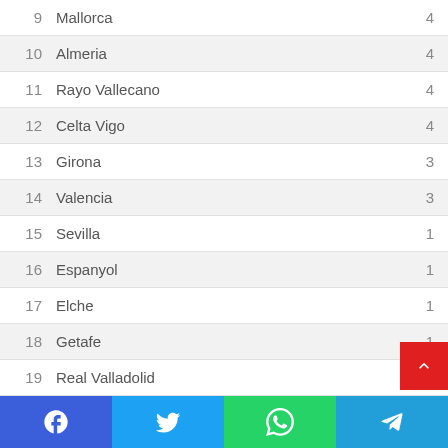| # | Team | Points |
| --- | --- | --- |
| 9 | Mallorca | 4 |
| 10 | Almeria | 4 |
| 11 | Rayo Vallecano | 4 |
| 12 | Celta Vigo | 4 |
| 13 | Girona | 3 |
| 14 | Valencia | 3 |
| 15 | Sevilla | 1 |
| 16 | Espanyol | 1 |
| 17 | Elche | 1 |
| 18 | Getafe | 1 |
| 19 | Real Valladolid | 1 |
| 20 | Cadiz | 0 |
Social share bar: Facebook, Twitter, WhatsApp, Telegram